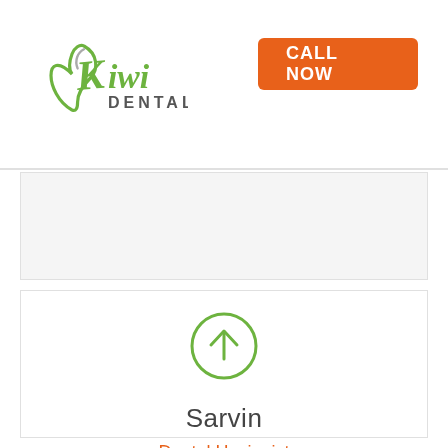[Figure (logo): Kiwi Dental logo with green tooth/leaf icon and stylized text]
CALL NOW
[Figure (illustration): Gray placeholder panel (empty content area)]
[Figure (illustration): Upward arrow in green circle icon]
Sarvin
Dental Hygienist